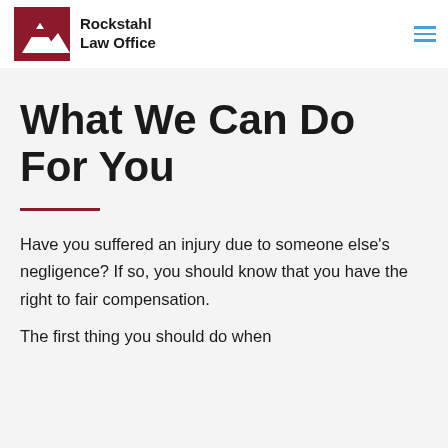[Figure (logo): Rockstahl Law Office logo with dark red mountain graphic and text]
What We Can Do For You
Have you suffered an injury due to someone else's negligence? If so, you should know that you have the right to fair compensation.
The first thing you should do when